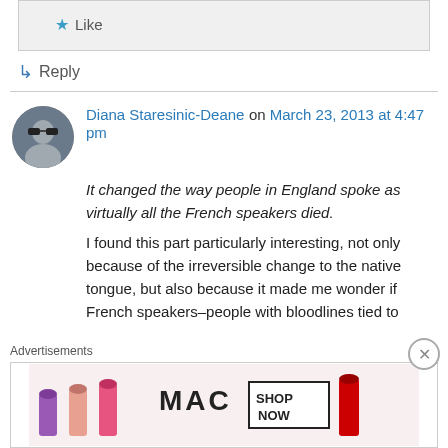Like
Reply
Diana Staresinic-Deane on March 23, 2013 at 4:47 pm
It changed the way people in England spoke as virtually all the French speakers died. I found this part particularly interesting, not only because of the irreversible change to the native tongue, but also because it made me wonder if French speakers–people with bloodlines tied to
Advertisements
[Figure (photo): MAC cosmetics advertisement showing lipsticks with SHOP NOW text]